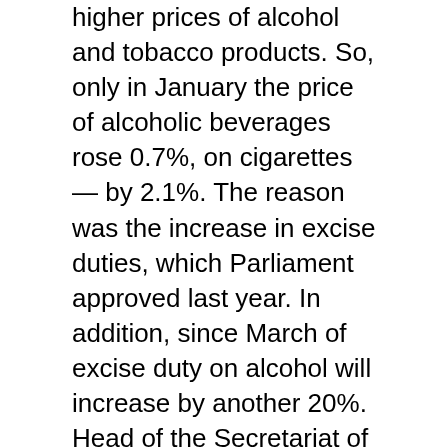higher prices of alcohol and tobacco products. So, only in January the price of alcoholic beverages rose 0.7%, on cigarettes — by 2.1%. The reason was the increase in excise duties, which Parliament approved last year. In addition, since March of excise duty on alcohol will increase by another 20%. Head of the Secretariat of the Council of entrepreneurs under the Cabinet of Ministers Andrei Zablovsky believes that the prices of these commodities will rise gradually during the year. Such a scenario would be possible if monthly inflation will not exceed 3-5% in a month, because then the producers in a stable economy will be able to keep pricing. "Due to the increase in excise taxes a pack of cigarettes in the near future may increase by 3-5 UAH. But alcohol can rise, probably somewhere in the 15-20 UAH. Blame not only the excise increase, but the increase in the price of the alcohol," explains the expert. While Zablovsky says: